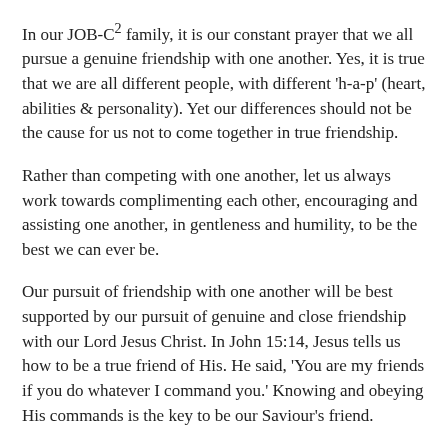In our JOB-C² family, it is our constant prayer that we all pursue a genuine friendship with one another. Yes, it is true that we are all different people, with different 'h-a-p' (heart, abilities & personality). Yet our differences should not be the cause for us not to come together in true friendship.
Rather than competing with one another, let us always work towards complimenting each other, encouraging and assisting one another, in gentleness and humility, to be the best we can ever be.
Our pursuit of friendship with one another will be best supported by our pursuit of genuine and close friendship with our Lord Jesus Christ. In John 15:14, Jesus tells us how to be a true friend of His. He said, 'You are my friends if you do whatever I command you.' Knowing and obeying His commands is the key to be our Saviour's friend.